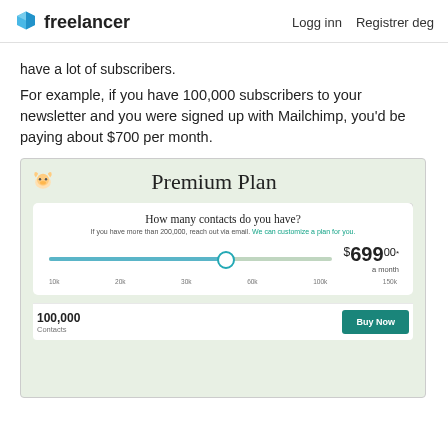freelancer   Logg inn   Registrer deg
have a lot of subscribers.
For example, if you have 100,000 subscribers to your newsletter and you were signed up with Mailchimp, you'd be paying about $700 per month.
[Figure (screenshot): Mailchimp Premium Plan pricing screenshot showing a slider set to 100,000 contacts with a price of $699.00 per month and a 'Buy Now' button]